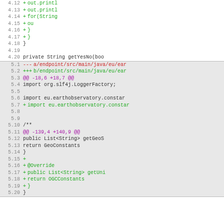[Figure (screenshot): Code diff view showing two sections. First section (white background) shows lines 4.11-4.20 with green added lines including out.println, for(String, closing braces, and private String getYesNo(boo. Second section (gray background) shows lines 5.1-5.20 of a diff including file headers, hunk headers, import statements, and method stubs with purple hunk markers and green added lines.]